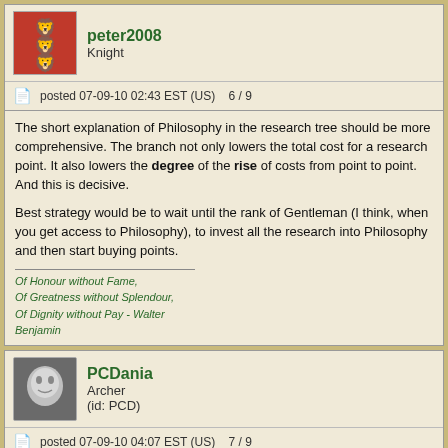peter2008
Knight
posted 07-09-10 02:43 EST (US)   6 / 9
The short explanation of Philosophy in the research tree should be more comprehensive. The branch not only lowers the total cost for a research point. It also lowers the degree of the rise of costs from point to point. And this is decisive.

Best strategy would be to wait until the rank of Gentleman (I think, when you get access to Philosophy), to invest all the research into Philosophy and then start buying points.
Of Honour without Fame,
Of Greatness without Splendour,
Of Dignity without Pay - Walter Benjamin
PCDania
Archer
(id: PCD)
posted 07-09-10 04:07 EST (US)   7 / 9
It's difficult to see the effect of researching Philosophy as it lowers the cost in gold by a pretty low percentage. If one waits until the cost is pretty high and then do all the Philosophy research at once one can see it makes a difference.

In alpha 1 I think it was, I did all the Philosophy research in one go and bought every Research Point I put into it and ended up paying